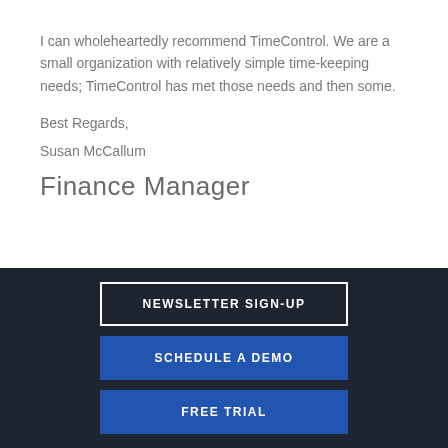I can wholeheartedly recommend TimeControl. We are a small organization with relatively simple time-keeping needs; TimeControl has met those needs and then some.
Best Regards,
Susan McCallum
Finance Manager
NEWSLETTER SIGN-UP
SCHEDULE A DEMO
FREE TRIAL